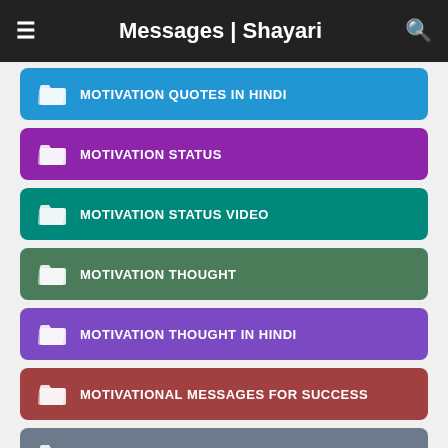Messages | Shayari
MOTIVATION QUOTES IN HINDI
MOTIVATION STATUS
MOTIVATION STATUS VIDEO
MOTIVATION THOUGHT
MOTIVATION THOUGHT IN HINDI
MOTIVATIONAL MESSAGES FOR SUCCESS
MOTIVATIONAL MESSAGES FOR TEAM
MOTIVATIONAL QUOTES IN HINDI 2020